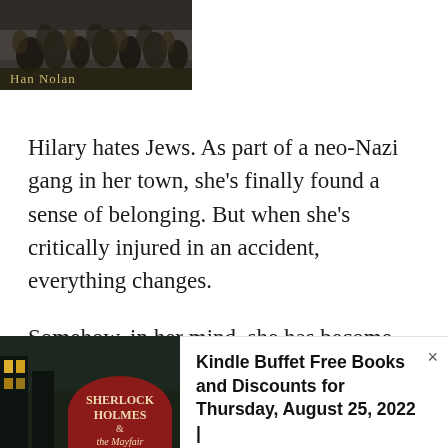[Figure (photo): Book cover image showing historical/wartime imagery with author name 'Han Nolan' at bottom]
Hilary hates Jews. As part of a neo-Nazi gang in her town, she's finally found a sense of belonging. But when she's critically injured in an accident, everything changes.
Somehow, in her mind, she has become Chana, a Jewish girl fighting for her own life in the ghettos and concentration camps of World War II.
Han Nolan offers powerful insight into one young woman's survival through the Holocaust and another's journey out of hatred and self-loathing.
[Figure (photo): Book cover for Sherlock Holmes & the Mayfair (partially visible)]
Kindle Buffet Free Books and Discounts for Thursday, August 25, 2022 |